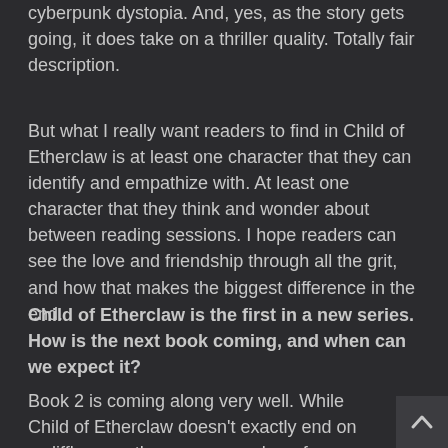cyberpunk dystopia. And, yes, as the story gets going, it does take on a thriller quality. Totally fair description.
But what I really want readers to find in Child of Etherclaw is at least one character that they can identify and empathize with. At least one character that they think and wonder about between reading sessions. I hope readers can see the love and friendship through all the grit, and how that makes the biggest difference in the end.
Child of Etherclaw is the first in a new series. How is the next book coming, and when can we expect it?
Book 2 is coming along very well. While Child of Etherclaw doesn't exactly end on a cliffhanger, there are a number of smaller loose threads that I will be tying up in